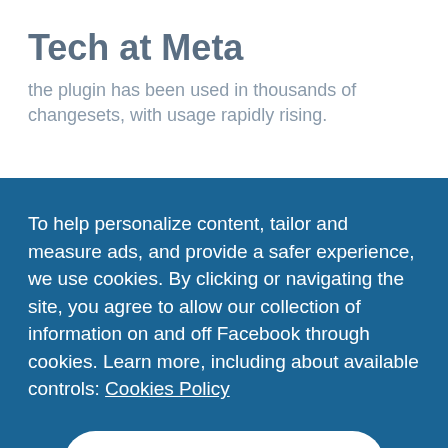Tech at Meta
the plugin has been used in thousands of changesets, with usage rapidly rising.
To help personalize content, tailor and measure ads, and provide a safer experience, we use cookies. By clicking or navigating the site, you agree to allow our collection of information on and off Facebook through cookies. Learn more, including about available controls: Cookies Policy